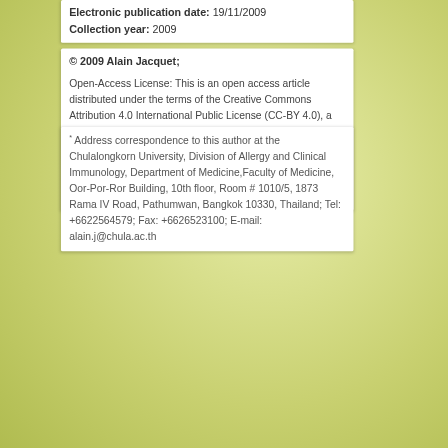Electronic publication date: 19/11/2009
Collection year: 2009
© 2009 Alain Jacquet;

Open-Access License: This is an open access article distributed under the terms of the Creative Commons Attribution 4.0 International Public License (CC-BY 4.0), a copy of which is available at: https://creativecommons.org/licenses/by/4.0/legalcode. This license permits unrestricted use, distribution, and reproduction in any medium, provided the original author and source are credited.
* Address correspondence to this author at the Chulalongkorn University, Division of Allergy and Clinical Immunology, Department of Medicine,Faculty of Medicine, Oor-Por-Ror Building, 10th floor, Room # 1010/5, 1873 Rama IV Road, Pathumwan, Bangkok 10330, Thailand; Tel: +6622564579; Fax: +6626523100; E-mail: alain.j@chula.ac.th